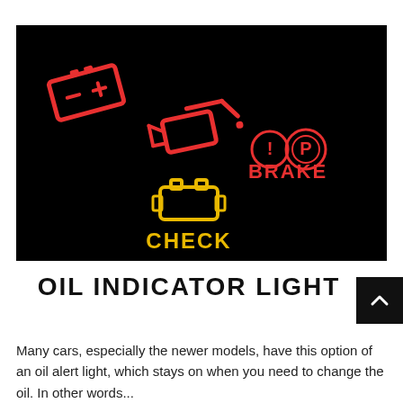[Figure (photo): Dark dashboard warning lights on a black background: a red battery icon (top left), a red oil can icon (center), red brake warning indicators with text BRAKE (right), and a yellow check engine icon with text CHECK (bottom center).]
OIL INDICATOR LIGHT
Many cars, especially the newer models, have this option of an oil alert light, which stays on when you need to change the oil. In other words...